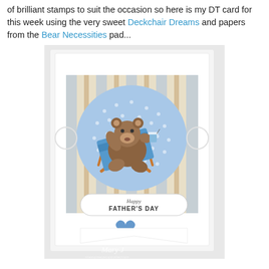of brilliant stamps to suit the occasion so here is my DT card for this week using the very sweet Deckchair Dreams and papers from the Bear Necessities pad...
[Figure (photo): A handmade Father's Day greeting card featuring a cute illustrated bear relaxing in a deckchair on a blue polka-dot circular background, with striped patterned paper, a 'Happy FATHER'S DAY' banner, a small blue heart embellishment, and a watermark reading 'Mary J' at the bottom.]